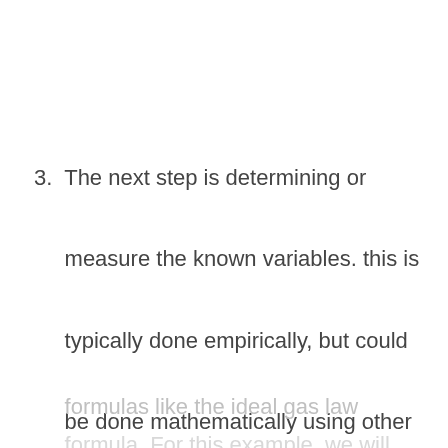3. The next step is determining or measure the known variables. this is typically done empirically, but could be done mathematically using other formulas like the ideal gas law formula. For this example, we will